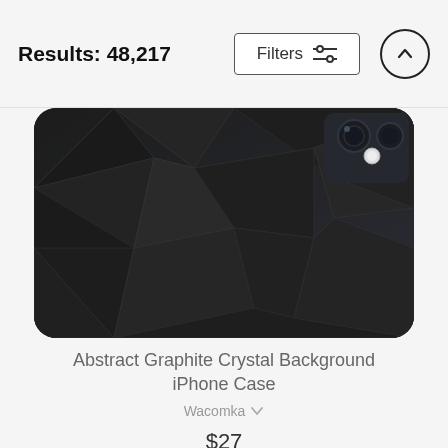Results: 48,217
Filters
[Figure (screenshot): Abstract graphite crystal geometric dark polygon pattern on back of an iPhone case]
Abstract Graphite Crystal Background iPhone Case
Wacomka
$27